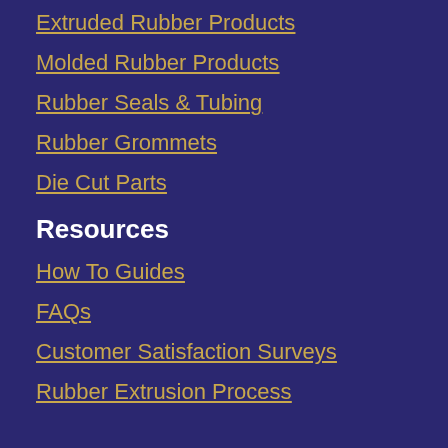Extruded Rubber Products
Molded Rubber Products
Rubber Seals & Tubing
Rubber Grommets
Die Cut Parts
Resources
How To Guides
FAQs
Customer Satisfaction Surveys
Rubber Extrusion Process